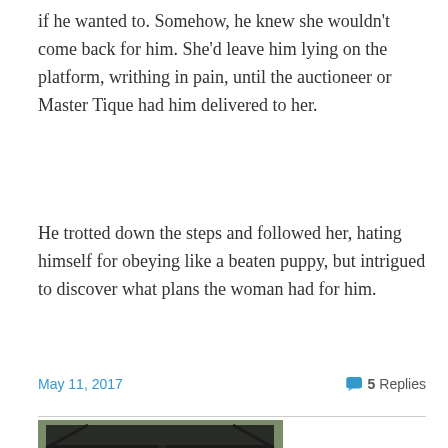if he wanted to. Somehow, he knew she wouldn't come back for him. She'd leave him lying on the platform, writhing in pain, until the auctioneer or Master Tique had him delivered to her.
He trotted down the steps and followed her, hating himself for obeying like a beaten puppy, but intrigued to discover what plans the woman had for him.
May 11, 2017   💬 5 Replies
[Figure (photo): Outdoor metal stage structure with truss framework, dark canopy, and wooden backdrop panels, photographed in daylight with trees visible in the background.]